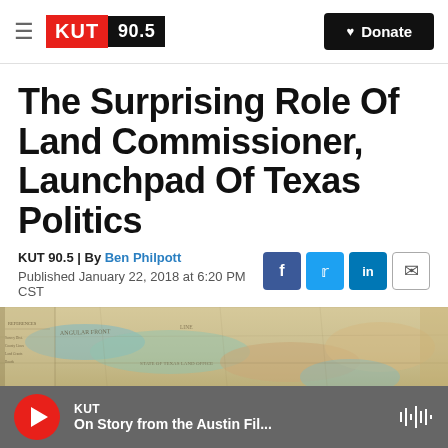KUT 90.5 | Donate
The Surprising Role Of Land Commissioner, Launchpad Of Texas Politics
KUT 90.5 | By Ben Philpott
Published January 22, 2018 at 6:20 PM CST
[Figure (map): Antique map of Texas frontier region, aged paper with faded color regions in blue, green, and brown]
KUT | On Story from the Austin Fil...